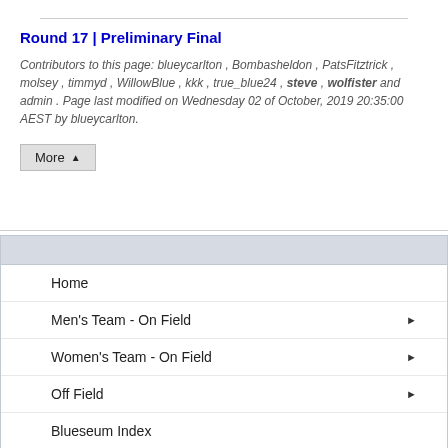Round 17 | Preliminary Final
Contributors to this page: blueycarlton , Bombasheldon , PatsFitztrick , molsey , timmyd , WillowBlue , kkk , true_blue24 , steve , wolfister and admin . Page last modified on Wednesday 02 of October, 2019 20:35:00 AEST by blueycarlton.
Home
Men's Team - On Field
Women's Team - On Field
Off Field
Blueseum Index
Image Galleries